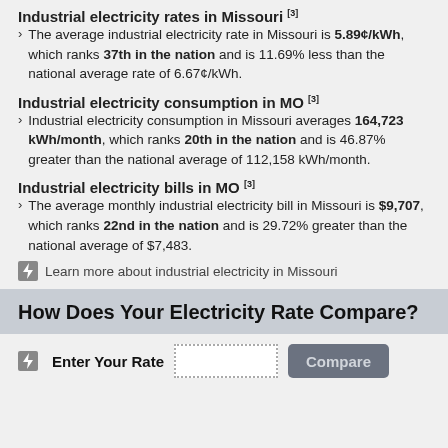Industrial electricity rates in Missouri [3]
The average industrial electricity rate in Missouri is 5.89¢/kWh, which ranks 37th in the nation and is 11.69% less than the national average rate of 6.67¢/kWh.
Industrial electricity consumption in MO [3]
Industrial electricity consumption in Missouri averages 164,723 kWh/month, which ranks 20th in the nation and is 46.87% greater than the national average of 112,158 kWh/month.
Industrial electricity bills in MO [3]
The average monthly industrial electricity bill in Missouri is $9,707, which ranks 22nd in the nation and is 29.72% greater than the national average of $7,483.
Learn more about industrial electricity in Missouri
How Does Your Electricity Rate Compare?
Enter Your Rate  Compare